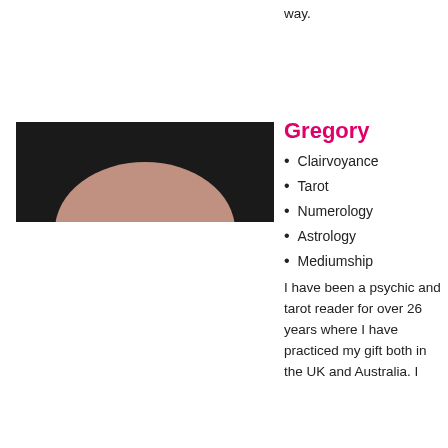way.
[Figure (photo): Close-up photo of the top of a bald person's head against a dark background.]
Gregory
Clairvoyance
Tarot
Numerology
Astrology
Mediumship
I have been a psychic and tarot reader for over 26 years where I have practiced my gift both in the UK and Australia. I